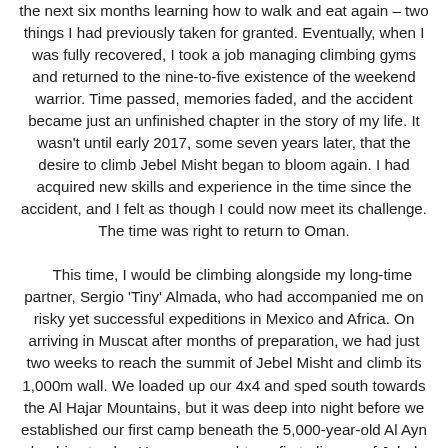the next six months learning how to walk and eat again – two things I had previously taken for granted. Eventually, when I was fully recovered, I took a job managing climbing gyms and returned to the nine-to-five existence of the weekend warrior. Time passed, memories faded, and the accident became just an unfinished chapter in the story of my life. It wasn't until early 2017, some seven years later, that the desire to climb Jebel Misht began to bloom again. I had acquired new skills and experience in the time since the accident, and I felt as though I could now meet its challenge. The time was right to return to Oman.
This time, I would be climbing alongside my long-time partner, Sergio 'Tiny' Almada, who had accompanied me on risky yet successful expeditions in Mexico and Africa. On arriving in Muscat after months of preparation, we had just two weeks to reach the summit of Jebel Misht and climb its 1,000m wall. We loaded up our 4x4 and sped south towards the Al Hajar Mountains, but it was deep into night before we established our first camp beneath the 5,000-year-old Al Ayn beehive tombs. Here, we caught our first glimpse of Jebel Misht; its face lit by the moon's glow, its ship-like prow